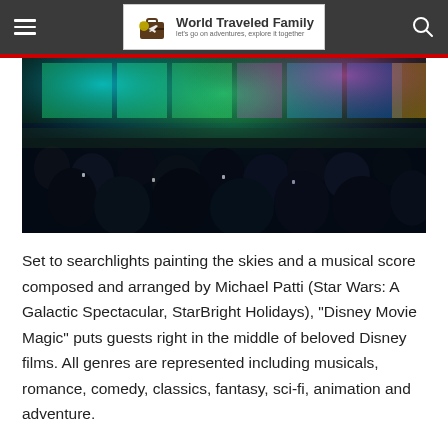World Traveled Family — Let's go on adventures, explore it together
[Figure (photo): Night-time crowd scene at a Disney outdoor show with colorful green and pink neon lights illuminating a large stage/screen in the background]
Set to searchlights painting the skies and a musical score composed and arranged by Michael Patti (Star Wars: A Galactic Spectacular, StarBright Holidays), "Disney Movie Magic" puts guests right in the middle of beloved Disney films. All genres are represented including musicals, romance, comedy, classics, fantasy, sci-fi, animation and adventure.
“For generations these films have touched our lives,” said